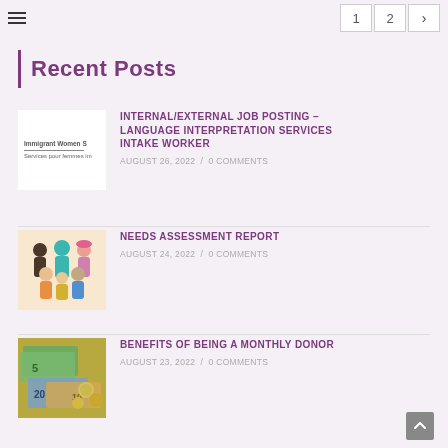≡  1  2  →
Recent Posts
[Figure (logo): Immigrant Women Services logo with text 'Immigrant Women S' and 'Services pour femmes im']
INTERNAL/EXTERNAL JOB POSTING – LANGUAGE INTERPRETATION SERVICES INTAKE WORKER
AUGUST 26, 2022 / 0 COMMENTS
[Figure (illustration): Illustration of diverse group of people]
NEEDS ASSESSMENT REPORT
AUGUST 24, 2022 / 0 COMMENTS
[Figure (photo): Photo of Canadian currency bills and coins]
BENEFITS OF BEING A MONTHLY DONOR
AUGUST 23, 2022 / 0 COMMENTS